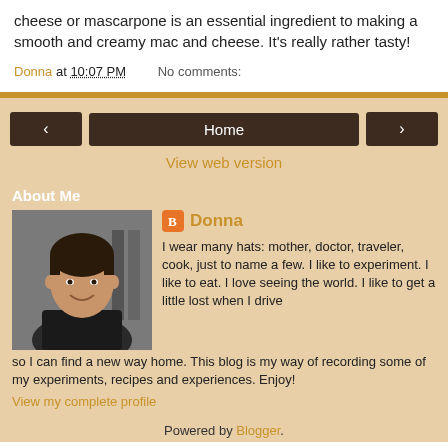cheese or mascarpone is an essential ingredient to making a smooth and creamy mac and cheese. It's really rather tasty!
Donna at 10:07 PM    No comments:
Home
View web version
About Me
[Figure (photo): Profile photo of Donna, a woman with short dark hair, smiling]
Donna
I wear many hats: mother, doctor, traveler, cook, just to name a few. I like to experiment. I like to eat. I love seeing the world. I like to get a little lost when I drive so I can find a new way home. This blog is my way of recording some of my experiments, recipes and experiences. Enjoy!
View my complete profile
Powered by Blogger.